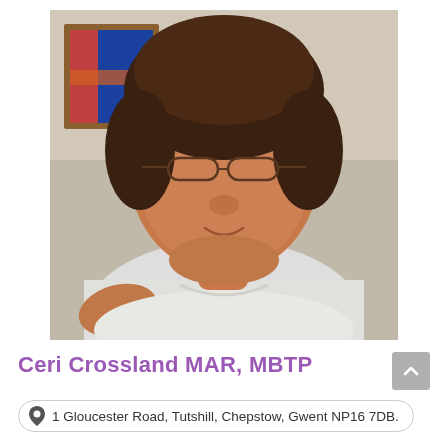[Figure (photo): Portrait photo of a middle-aged woman with short brown hair and glasses, wearing a white top and a dark necklace pendant, smiling slightly. Background shows a wall with a framed painting on the left and blue object on the right.]
Ceri Crossland MAR, MBTP
1 Gloucester Road, Tutshill, Chepstow, Gwent NP16 7DB.